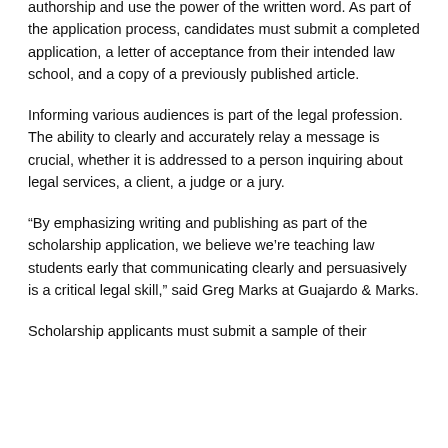authorship and use the power of the written word. As part of the application process, candidates must submit a completed application, a letter of acceptance from their intended law school, and a copy of a previously published article.
Informing various audiences is part of the legal profession. The ability to clearly and accurately relay a message is crucial, whether it is addressed to a person inquiring about legal services, a client, a judge or a jury.
“By emphasizing writing and publishing as part of the scholarship application, we believe we’re teaching law students early that communicating clearly and persuasively is a critical legal skill,” said Greg Marks at Guajardo & Marks.
Scholarship applicants must submit a sample of their